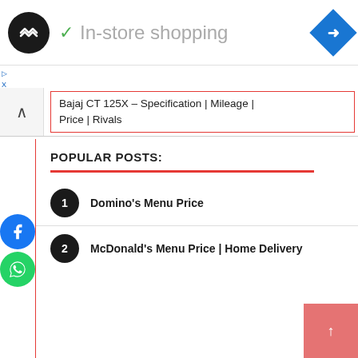[Figure (screenshot): Top navigation bar with app logo (dark circle with arrows icon), green checkmark, 'In-store shopping' text in grey, and blue navigation diamond arrow icon on the right]
▷
X
Bajaj CT 125X – Specification | Mileage | Price | Rivals
[Figure (logo): Facebook circular blue icon]
[Figure (logo): WhatsApp circular green icon]
POPULAR POSTS:
1  Domino's Menu Price
2  McDonald's Menu Price | Home Delivery